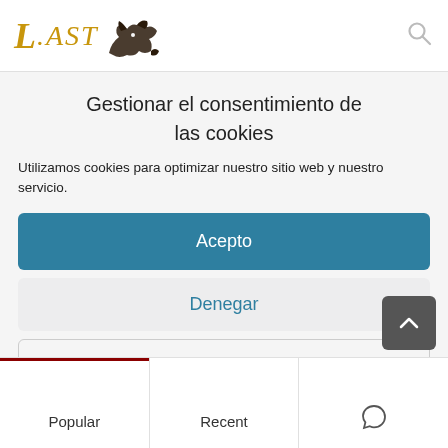[Figure (logo): Website logo showing stylized italic 'L.AST' text in gold/yellow with a black monster/dragon silhouette graphic]
Gestionar el consentimiento de las cookies
Utilizamos cookies para optimizar nuestro sitio web y nuestro servicio.
Acepto
Denegar
Preferencias
Política de cookies   About us: Privacy policy
Popular
Recent